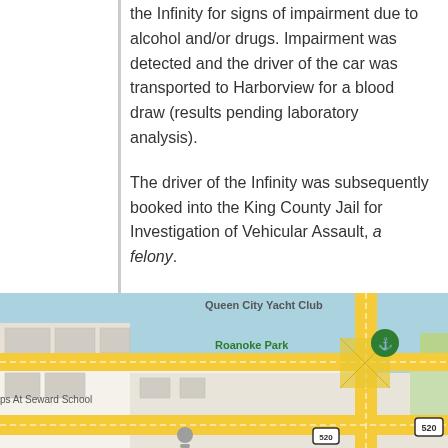the Infinity for signs of impairment due to alcohol and/or drugs. Impairment was detected and the driver of the car was transported to Harborview for a blood draw (results pending laboratory analysis).
The driver of the Infinity was subsequently booked into the King County Jail for Investigation of Vehicular Assault, a felony.
The Infinity was impounded and taken to the evidence garage.  Traffic Collision Investigation Squad detectives responded to the scene and continue to actively investigate.
[Figure (map): Google Maps screenshot showing the intersection area near Queen City Yacht Club, Roanoke Park, and Seward School, with route 520 visible.]